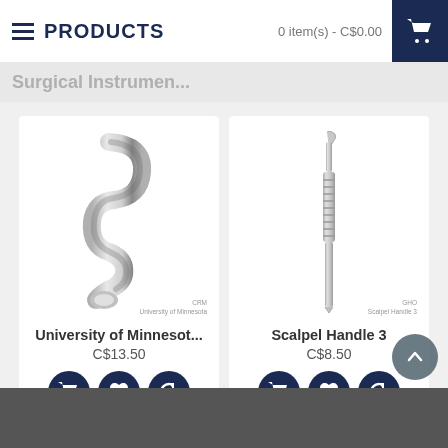PRODUCTS | 0 item(s) - C$0.00
Surgical Instruments
[Figure (photo): Stainless steel University of Minnesota retractor surgical instrument with S-curve shape, watermarked CRM University of Minnesota]
University of Minnesot...
C$13.50
[Figure (photo): Stainless steel scalpel handle number 3 surgical instrument, watermarked GHO Scalpel Handle 3]
Scalpel Handle 3
C$8.50